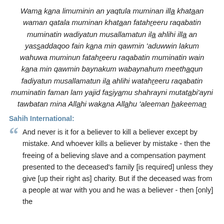Wama kana limuminin an yaqtula muminan illa khataan waman qatala muminan khataan fatahreeru raqabatin muminatin wadiyatun musallamatun ila ahlihi illa an yassaddaqoo fain kana min qawmin 'aduwwin lakum wahuwa muminun fatahreeru raqabatin muminatin wain kana min qawmin baynakum wabaynahum meethaqun fadiyatun musallamatun ila ahlihi watahreeru raqabatin muminatin faman lam yajid fasiyamu shahrayni mutatabi'ayni tawbatan mina Allahi wakana Allahu 'aleeman hakeeman
Sahih International:
And never is it for a believer to kill a believer except by mistake. And whoever kills a believer by mistake - then the freeing of a believing slave and a compensation payment presented to the deceased's family [is required] unless they give [up their right as] charity. But if the deceased was from a people at war with you and he was a believer - then [only] the